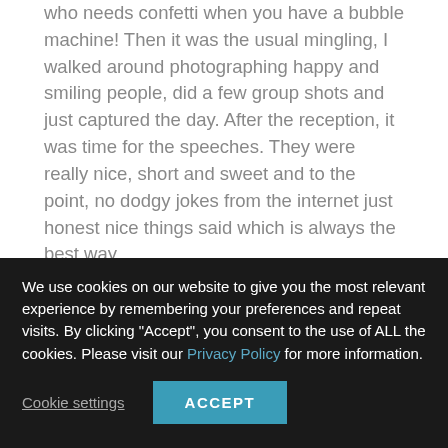who needs confetti when you have a bubble machine!  Then it was the usual mingling, I walked around photographing happy and smiling people, did a few group shots and just captured the day.  After the reception, it was time for the speeches.  They were really nice, short and sweet and to the point, no dodgy jokes from the internet just honest nice things said which is always the best way.
We had been blessed with beautiful weather so after the meal people took advantages of the outdoor games on offer.  Limbo was a massive hit and loads of fun.  Here's some advice if you are going for garden games just go with limbo, space hoppers and sack races!  It was nice to see that the bride and groom got stuck into the limbo and that always makes
We use cookies on our website to give you the most relevant experience by remembering your preferences and repeat visits. By clicking "Accept", you consent to the use of ALL the cookies. Please visit our Privacy Policy for more information.
Cookie settings | ACCEPT